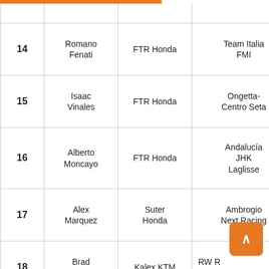| # | Rider | Machine | Team |
| --- | --- | --- | --- |
| 14 | Romano Fenati | FTR Honda | Team Italia FMI |
| 15 | Isaac Vinales | FTR Honda | Ongetta-Centro Seta |
| 16 | Alberto Moncayo | FTR Honda | Andalucía JHK Laglisse |
| 17 | Alex Marquez | Suter Honda | Ambrogio Next Racing |
| 18 | Brad Binder | Kalex KTM | RW Racing GP |
| 19 | Niccolo ... | FTR Honda | San Carlo ... |